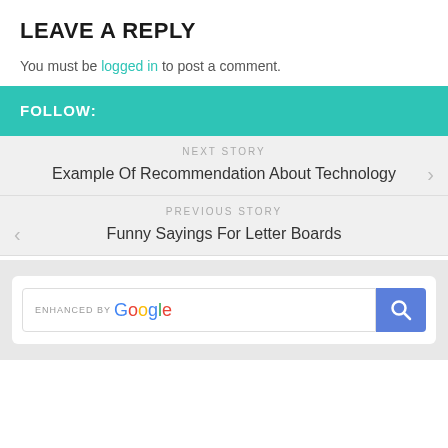LEAVE A REPLY
You must be logged in to post a comment.
FOLLOW:
NEXT STORY
Example Of Recommendation About Technology
PREVIOUS STORY
Funny Sayings For Letter Boards
[Figure (screenshot): Google custom search box with 'enhanced by Google' label and blue search button with magnifying glass icon]